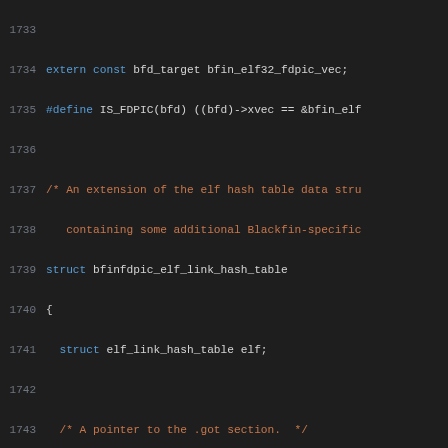Source code listing lines 1733-1754 showing C struct definition for bfinfdpic_elf_link_hash_table